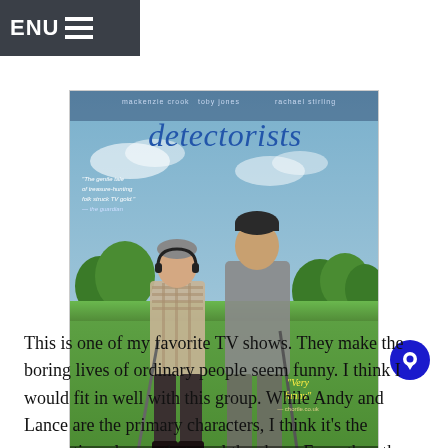MENU
[Figure (photo): DVD/Blu-ray cover of the TV show 'Detectorists' showing two men standing in a green field holding metal detectors, with the show title in large letters at the top. The Acorn and BBC logos appear at the bottom. Actor names appear at the top.]
This is one of my favorite TV shows. They make the boring lives of ordinary people seem funny. I think I would fit in well with this group. While Andy and Lance are the primary characters, I think it's the supporting players that steal the show. From the other members of